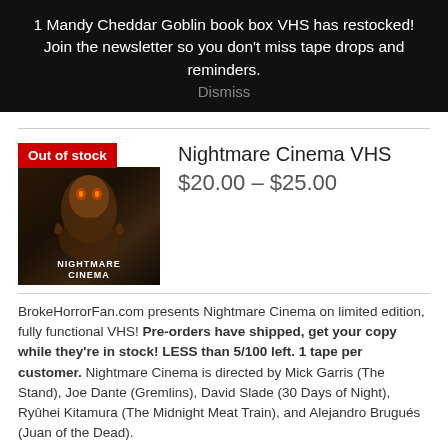1 Mandy Cheddar Goblin book box VHS has restocked! Join the newsletter so you don't miss tape drops and reminders.
Dismiss
Out of stock
Nightmare Cinema VHS
$20.00 – $25.00
BrokeHorrorFan.com presents Nightmare Cinema on limited edition, fully functional VHS! Pre-orders have shipped, get your copy while they're in stock! LESS than 5/100 left. 1 tape per customer. Nightmare Cinema is directed by Mick Garris (The Stand), Joe Dante (Gremlins), David Slade (30 Days of Night), Ryûhei Kitamura (The Midnight Meat Train), and Alejandro Brugués (Juan of the Dead).